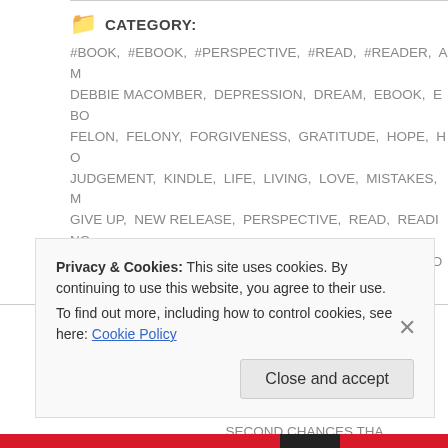CATEGORY:
#BOOK, #EBOOK, #PERSPECTIVE, #READ, #READER, AM DEBBIE MACOMBER, DEPRESSION, DREAM, EBOOK, EBO FELON, FELONY, FORGIVENESS, GRATITUDE, HOPE, HO JUDGEMENT, KINDLE, LIFE, LIVING, LOVE, MISTAKES, M GIVE UP, NEW RELEASE, PERSPECTIVE, READ, READING, CHANCES, SUPPORT, SURVIVE, THE PAST, UNCATEGORIZ
TAGGED WITH:
#BOOK #EBOOK #READ ANY DREAM WI DREAMS EMBEZZLEMENT FELONY FOR LOVE READING SECOND CHANCES THA
Privacy & Cookies: This site uses cookies. By continuing to use this website, you agree to their use. To find out more, including how to control cookies, see here: Cookie Policy
Close and accept